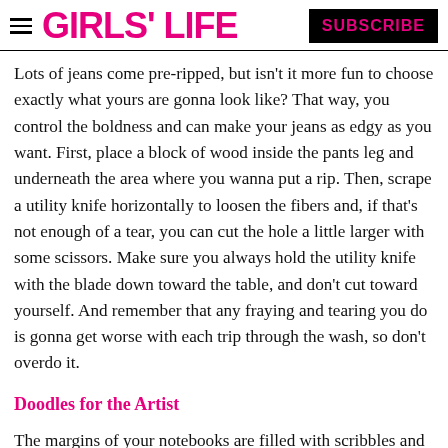GIRLS' LIFE  SUBSCRIBE
Lots of jeans come pre-ripped, but isn't it more fun to choose exactly what yours are gonna look like? That way, you control the boldness and can make your jeans as edgy as you want. First, place a block of wood inside the pants leg and underneath the area where you wanna put a rip. Then, scrape a utility knife horizontally to loosen the fibers and, if that's not enough of a tear, you can cut the hole a little larger with some scissors. Make sure you always hold the utility knife with the blade down toward the table, and don't cut toward yourself. And remember that any fraying and tearing you do is gonna get worse with each trip through the wash, so don't overdo it.
Doodles for the Artist
The margins of your notebooks are filled with scribbles and cartoons. So are the covers of your binders, your pencil case and your tannies. Well, it's time to move on to bigger and better things